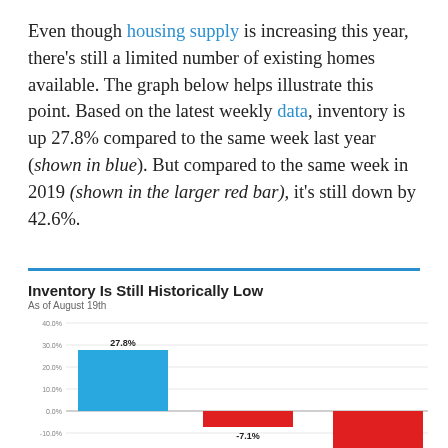Even though housing supply is increasing this year, there's still a limited number of existing homes available. The graph below helps illustrate this point. Based on the latest weekly data, inventory is up 27.8% compared to the same week last year (shown in blue). But compared to the same week in 2019 (shown in the larger red bar), it's still down by 42.6%.
[Figure (bar-chart): Inventory Is Still Historically Low]